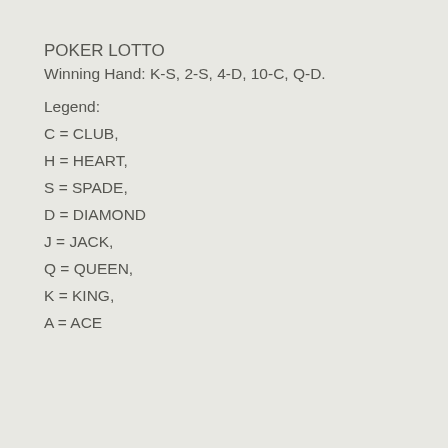POKER LOTTO
Winning Hand: K-S, 2-S, 4-D, 10-C, Q-D.
Legend:
C = CLUB,
H = HEART,
S = SPADE,
D = DIAMOND
J = JACK,
Q = QUEEN,
K = KING,
A = ACE